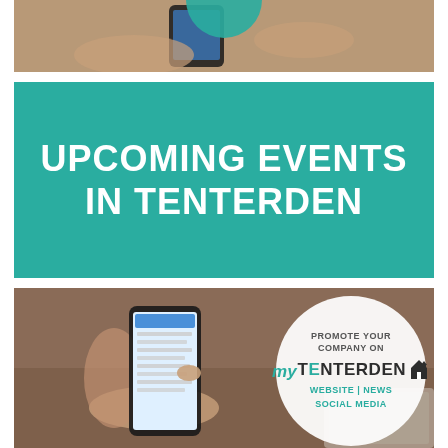[Figure (photo): Person holding a smartphone, partial view from above, top strip]
UPCOMING EVENTS IN TENTERDEN
[Figure (photo): Person holding a smartphone showing a list app, with a white circular overlay promoting myTenterden website]
PROMOTE YOUR COMPANY ON my TENTERDEN WEBSITE | NEWS SOCIAL MEDIA